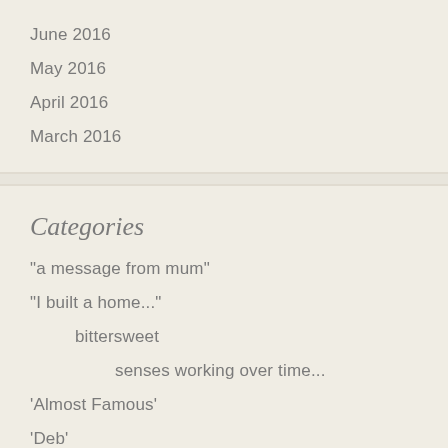June 2016
May 2016
April 2016
March 2016
Categories
"a message from mum"
"I built a home..."
bittersweet
senses working over time...
'Almost Famous'
'Deb'
'Grief comes in waves like the ocean'
'Heaven knows...'